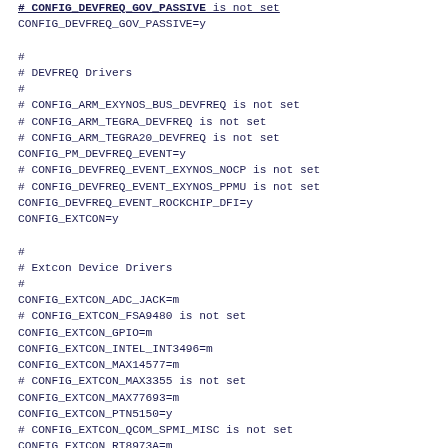# CONFIG_DEVFREQ_GOV_PASSIVE=y (truncated top)
CONFIG_DEVFREQ_GOV_PASSIVE=y

#
# DEVFREQ Drivers
#
# CONFIG_ARM_EXYNOS_BUS_DEVFREQ is not set
# CONFIG_ARM_TEGRA_DEVFREQ is not set
# CONFIG_ARM_TEGRA20_DEVFREQ is not set
CONFIG_PM_DEVFREQ_EVENT=y
# CONFIG_DEVFREQ_EVENT_EXYNOS_NOCP is not set
# CONFIG_DEVFREQ_EVENT_EXYNOS_PPMU is not set
CONFIG_DEVFREQ_EVENT_ROCKCHIP_DFI=y
CONFIG_EXTCON=y

#
# Extcon Device Drivers
#
CONFIG_EXTCON_ADC_JACK=m
# CONFIG_EXTCON_FSA9480 is not set
CONFIG_EXTCON_GPIO=m
CONFIG_EXTCON_INTEL_INT3496=m
CONFIG_EXTCON_MAX14577=m
# CONFIG_EXTCON_MAX3355 is not set
CONFIG_EXTCON_MAX77693=m
CONFIG_EXTCON_PTN5150=y
# CONFIG_EXTCON_QCOM_SPMI_MISC is not set
CONFIG_EXTCON_RT8973A=m
CONFIG_EXTCON_SM5502=m
CONFIG_EXTCON_USB_GPIO=y
CONFIG_MEMORY=y